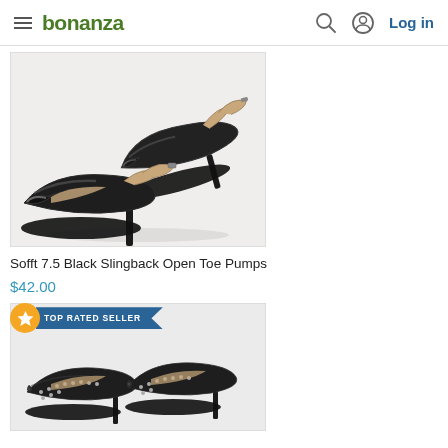bonanza — Log in
[Figure (photo): Black patent leather slingback open toe pumps with kitten heel, shown as a pair on white background]
Sofft 7.5 Black Slingback Open Toe Pumps
$42.00
[Figure (photo): Black studded low heel pumps with bow detail, partially visible, with TOP RATED SELLER badge overlay]